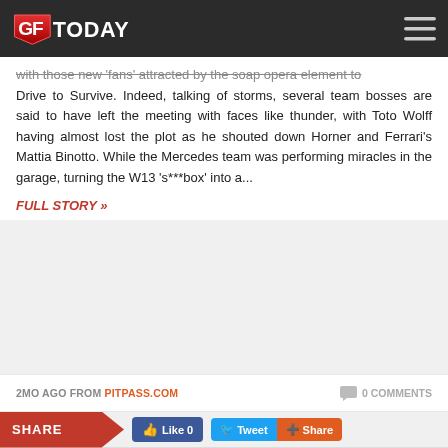GFToday
with those new 'fans' attracted by the soap opera element to Drive to Survive. Indeed, talking of storms, several team bosses are said to have left the meeting with faces like thunder, with Toto Wolff having almost lost the plot as he shouted down Horner and Ferrari's Mattia Binotto. While the Mercedes team was performing miracles in the garage, turning the W13 's***box' into a...
FULL STORY »
2MO AGO FROM PITPASS.COM   0 COMMENTS
SHARE  Like 0  Tweet  Share
YOU MAY ALSO BE INTERESTED IN...
[Figure (photo): GFToday logo placeholder image with '300 views' badge - Verstappen article thumbnail]
Verstappen: If you can't
[Figure (photo): GFToday logo placeholder image with '629 views' badge - Horner claims Mercedes article thumbnail]
Horner claims Mercedes